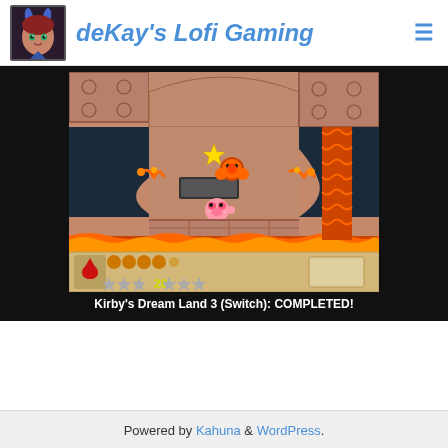deKay's Lofi Gaming
[Figure (screenshot): Kirby's Dream Land 3 gameplay screenshot on Nintendo Switch showing Kirby in a cave/lava level with HUD at bottom showing health and score]
Kirby's Dream Land 3 (Switch): COMPLETED!
Powered by Kahuna & WordPress.